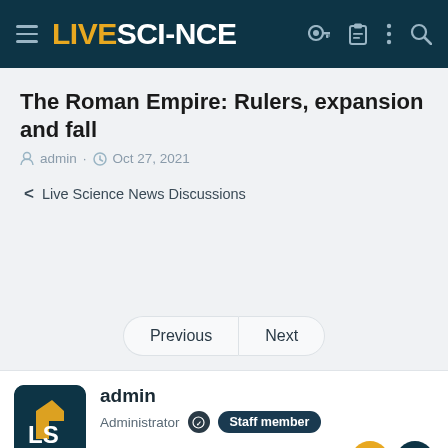LIVESCIENCE
The Roman Empire: Rulers, expansion and fall
admin · Oct 27, 2021
< Live Science News Discussions
Previous | Next
admin
Administrator Staff member
Nov 11, 2019  7,357  324  0